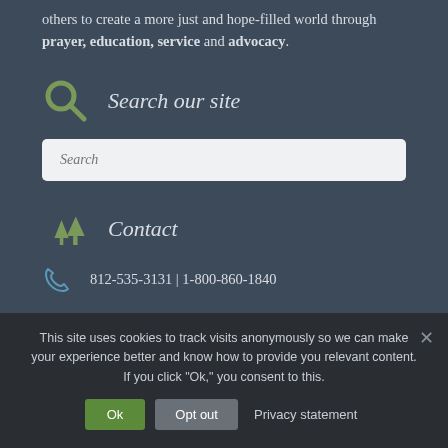others to create a more just and hope-filled world through prayer, education, service and advocacy.
Search our site
Search
Contact
812-535-3131 | 1-800-860-1840
This site uses cookies to track visits anonymously so we can make your experience better and know how to provide you relevant content. If you click "Ok," you consent to this.